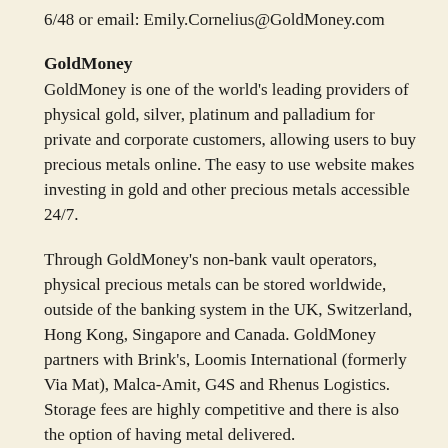6/48 or email: Emily.Cornelius@GoldMoney.com
GoldMoney
GoldMoney is one of the world's leading providers of physical gold, silver, platinum and palladium for private and corporate customers, allowing users to buy precious metals online. The easy to use website makes investing in gold and other precious metals accessible 24/7.
Through GoldMoney's non-bank vault operators, physical precious metals can be stored worldwide, outside of the banking system in the UK, Switzerland, Hong Kong, Singapore and Canada. GoldMoney partners with Brink's, Loomis International (formerly Via Mat), Malca-Amit, G4S and Rhenus Logistics. Storage fees are highly competitive and there is also the option of having metal delivered.
GoldMoney currently has over 20,000 customers worldwide and holds over $1billion of precious metals in its partner vaults.